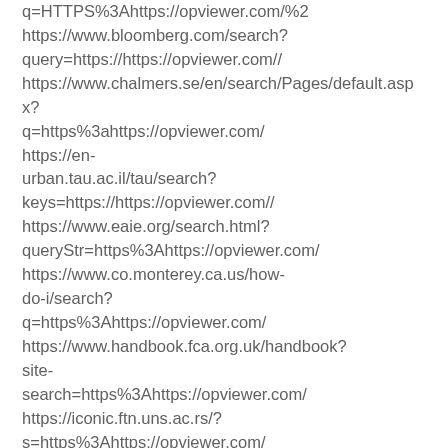q=HTTPS%3Ahttps://opviewer.com/%2
https://www.bloomberg.com/search?query=https://https://opviewer.com//
https://www.chalmers.se/en/search/Pages/default.aspx?q=https%3ahttps://opviewer.com/
https://en-urban.tau.ac.il/tau/search?keys=https://https://opviewer.com//
https://www.eaie.org/search.html?queryStr=https%3Ahttps://opviewer.com/
https://www.co.monterey.ca.us/how-do-i/search?q=https%3Ahttps://opviewer.com/
https://www.handbook.fca.org.uk/handbook?site-search=https%3Ahttps://opviewer.com/
https://iconic.ftn.uns.ac.rs/?s=https%3Ahttps://opviewer.com/